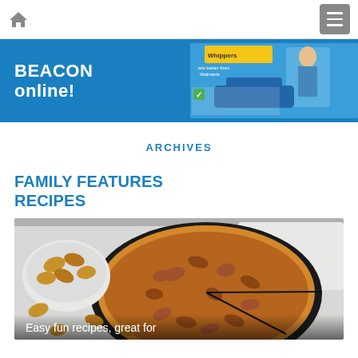Home | Menu
[Figure (screenshot): Blue banner with text 'BEACON online!' and a promotional image on the right showing a person near a car with text overlay about Walmart]
ARCHIVES
FAMILY FEATURES RECIPES
[Figure (photo): Top-down photo of a walnut pie/tart with walnuts scattered around on a white plate, with caption 'Easy fun recipes, great for']
Easy fun recipes, great for